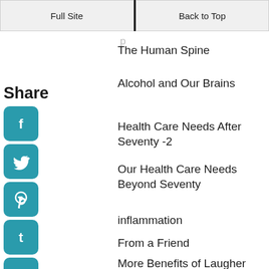Full Site | Back to Top
The Human Spine
Alcohol and Our Brains
Health Care Needs After Seventy -2
Our Health Care Needs Beyond Seventy
inflammation
From a Friend
More Benefits of Laugher
Laughter Benefits Our Bodies
Mountain Grandeur
[Figure (infographic): Social share icons: Facebook, Twitter, Pinterest, Tumblr, Reddit, WhatsApp, Messenger, with Share label and back arrow]